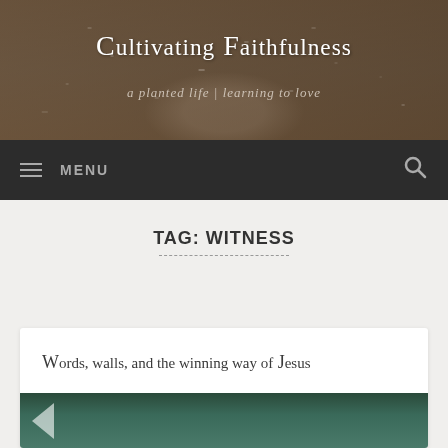[Figure (photo): Close-up macro photo of water droplets on a surface with dark bokeh background, serving as the website header background image]
Cultivating Faithfulness
a planted life | learning to love
≡ MENU
TAG: WITNESS
Words, walls, and the winning way of Jesus